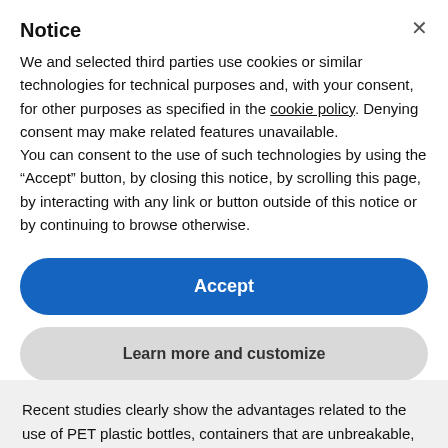Notice
We and selected third parties use cookies or similar technologies for technical purposes and, with your consent, for other purposes as specified in the cookie policy. Denying consent may make related features unavailable.
You can consent to the use of such technologies by using the “Accept” button, by closing this notice, by scrolling this page, by interacting with any link or button outside of this notice or by continuing to browse otherwise.
Accept
Learn more and customize
Recent studies clearly show the advantages related to the use of PET plastic bottles, containers that are unbreakable, safe, with great barrier properties, light and above all